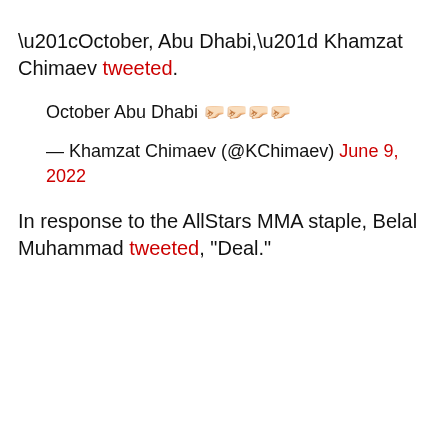“October, Abu Dhabi,” Khamzat Chimaev tweeted.
October Abu Dhabi 👊🏻👊🏻👊🏻👊🏻
— Khamzat Chimaev (@KChimaev) June 9, 2022
In response to the AllStars MMA staple, Belal Muhammad tweeted, “Deal.”